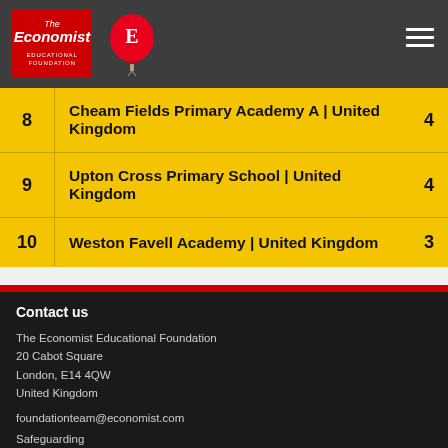The Economist Educational Foundation
| Rank | School | Score |
| --- | --- | --- |
| 8 | Cheam Fields Primary Academy A | United Kingdom | 4 |
| 9 | Upton Cross Primary School | United Kingdom | 4 |
| 10 | Weston Favell Academy | United Kingdom | 3 |
Contact us
The Economist Educational Foundation
20 Cabot Square
London, E14 4QW
United Kingdom
foundationteam@economist.com
Safeguarding
Legal and privacy